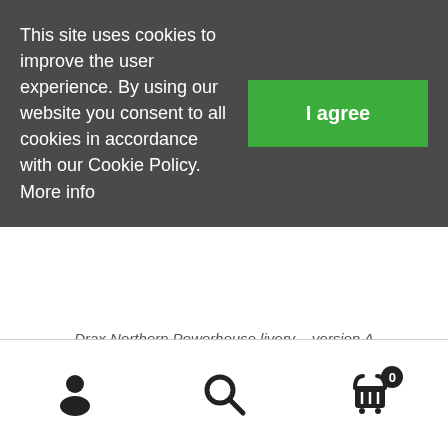This site uses cookies to improve the user experience. By using our website you consent to all cookies in accordance with our Cookie Policy. More info
I agree
Drax Northern Powerhouse livery – version A
[Figure (other): Bottom navigation bar with person icon, search icon, and shopping cart icon with badge showing 0]